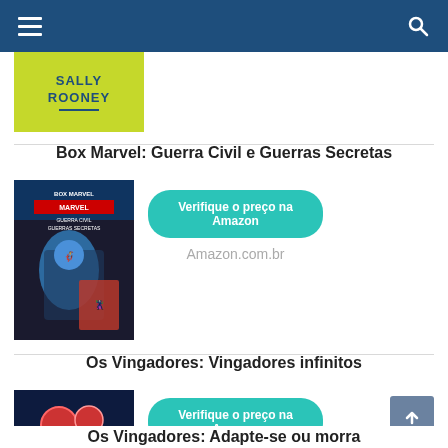Navigation bar with menu and search icons
[Figure (illustration): Partial view of a book cover with yellow-green background showing author name Sally Rooney]
Box Marvel: Guerra Civil e Guerras Secretas
[Figure (illustration): Box Marvel: Guerra Civil e Guerras Secretas book cover showing Marvel superheroes]
Verifique o preço na Amazon
Amazon.com.br
Os Vingadores: Vingadores infinitos
[Figure (illustration): Os Vingadores: Vingadores infinitos book cover showing superhero in red costume]
Verifique o preço na Amazon
Amazon.com.br
Os Vingadores: Adapte-se ou morra